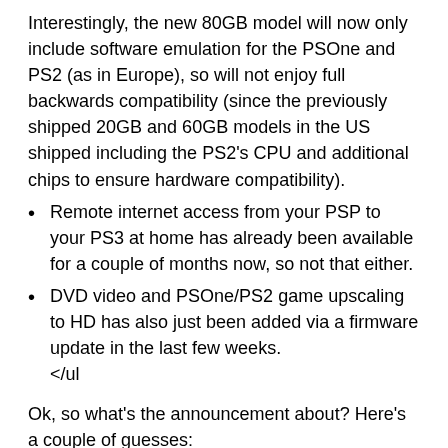Interestingly, the new 80GB model will now only include software emulation for the PSOne and PS2 (as in Europe), so will not enjoy full backwards compatibility (since the previously shipped 20GB and 60GB models in the US shipped including the PS2's CPU and additional chips to ensure hardware compatibility).
Remote internet access from your PSP to your PS3 at home has already been available for a couple of months now, so not that either.
DVD video and PSOne/PS2 game upscaling to HD has also just been added via a firmware update in the last few weeks.
</ul
Ok, so what's the announcement about? Here's a couple of guesses:
Online Playstation Network access to buy music and